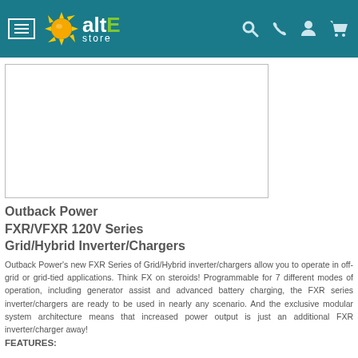altE store
[Figure (photo): Product image placeholder box for Outback Power FXR/VFXR 120V Series Grid/Hybrid Inverter/Chargers]
Outback Power FXR/VFXR 120V Series Grid/Hybrid Inverter/Chargers
Outback Power's new FXR Series of Grid/Hybrid inverter/chargers allow you to operate in off-grid or grid-tied applications. Think FX on steroids! Programmable for 7 different modes of operation, including generator assist and advanced battery charging, the FXR series inverter/chargers are ready to be used in nearly any scenario. And the exclusive modular system architecture means that increased power output is just an additional FXR inverter/charger away!
FEATURES: